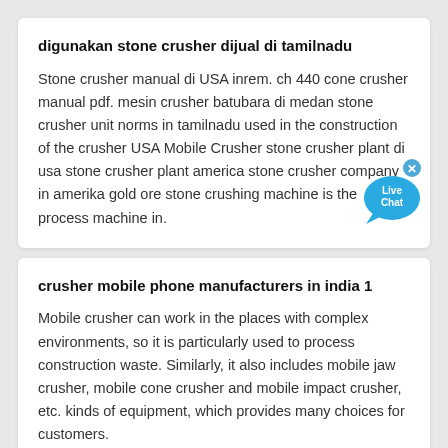digunakan stone crusher dijual di tamilnadu
Stone crusher manual di USA inrem. ch 440 cone crusher manual pdf. mesin crusher batubara di medan stone crusher unit norms in tamilnadu used in the construction of the crusher USA Mobile Crusher stone crusher plant di usa stone crusher plant america stone crusher company in amerika gold ore stone crushing machine is the process machine in.
crusher mobile phone manufacturers in india 1
Mobile crusher can work in the places with complex environments, so it is particularly used to process construction waste. Similarly, it also includes mobile jaw crusher, mobile cone crusher and mobile impact crusher, etc. kinds of equipment, which provides many choices for customers.